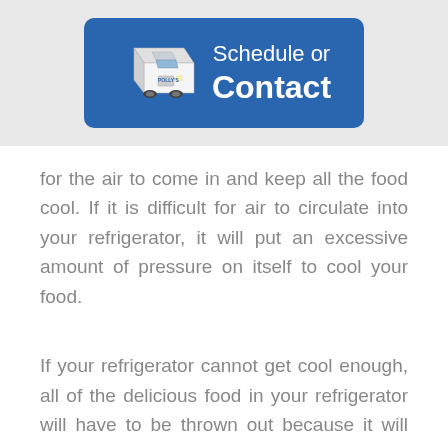[Figure (illustration): A blue rounded-rectangle button with a white delivery van illustration on the left and white text reading 'Schedule or Contact' on the right, on a light grey background banner.]
for the air to come in and keep all the food cool. If it is difficult for air to circulate into your refrigerator, it will put an excessive amount of pressure on itself to cool your food.
If your refrigerator cannot get cool enough, all of the delicious food in your refrigerator will have to be thrown out because it will spoil. In order to avoid this, you should clean your refrigerator before going on your next grocery shopping trip.